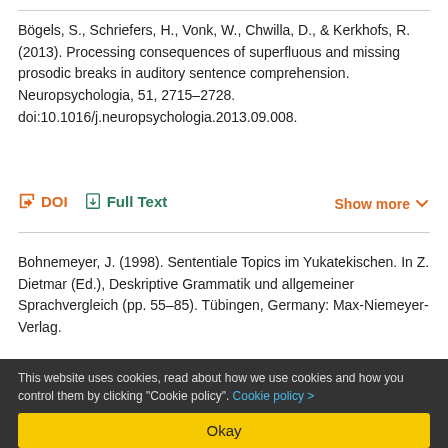Bögels, S., Schriefers, H., Vonk, W., Chwilla, D., & Kerkhofs, R. (2013). Processing consequences of superfluous and missing prosodic breaks in auditory sentence comprehension. Neuropsychologia, 51, 2715–2728. doi:10.1016/j.neuropsychologia.2013.09.008.
DOI | Full Text | Show more
Bohnemeyer, J. (1998). Sententiale Topics im Yukatekischen. In Z. Dietmar (Ed.), Deskriptive Grammatik und allgemeiner Sprachvergleich (pp. 55–85). Tübingen, Germany: Max-Niemeyer-Verlag.
This website uses cookies, read about how we use cookies and how you control them by clicking "Cookie policy". Cookie policy >